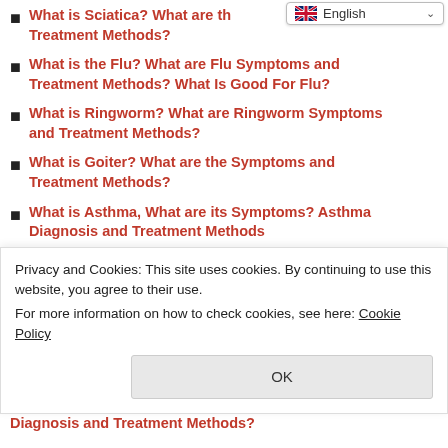[Figure (screenshot): Language selector dropdown showing English with flag icon and dropdown arrow]
What is Sciatica? What are the Symptoms and Treatment Methods?
What is the Flu? What are Flu Symptoms and Treatment Methods? What Is Good For Flu?
What is Ringworm? What are Ringworm Symptoms and Treatment Methods?
What is Goiter? What are the Symptoms and Treatment Methods?
What is Asthma, What are its Symptoms? Asthma Diagnosis and Treatment Methods
What is gastritis? What are the Causes, Symptoms, Diagnosis and Treatment of Gastritis?
Privacy and Cookies: This site uses cookies. By continuing to use this website, you agree to their use.
For more information on how to check cookies, see here: Cookie Policy
Diagnosis and Treatment Methods?